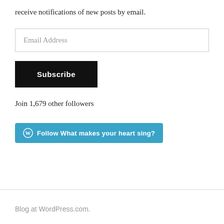receive notifications of new posts by email.
Email Address
Subscribe
Join 1,679 other followers
[Figure (other): WordPress Follow button: circular W logo followed by text 'Follow What makes your heart sing?' on a teal/blue background]
Blog at WordPress.com.